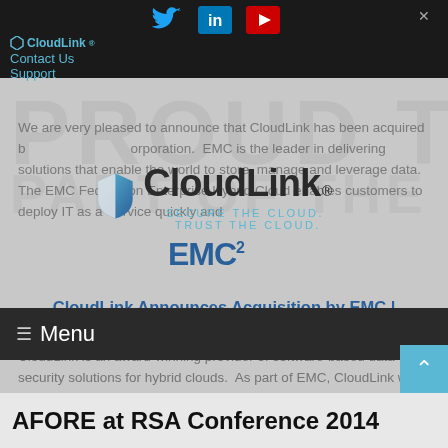CloudLink | Contact Us | Support — social icons: Twitter, LinkedIn, YouTube
[Figure (logo): CloudLink logo with shield icon and tagline: SECURE THE CLOUD. TRUST THE CLOUD.]
We are very pleased to announce that CloudLink has been acquired by EMC² Corporation. EMC is the leader in delivering solutions that enable the world to store, manage and leverage data. The EMC Federation Enterprise Hybrid Cloud enables customers to deploy IT as a Service quickly and
[Figure (logo): EMC² logo in blue]
CloudLink Announces Acquisition by EMC | Read more »
CloudLink is an award-winning provider of software-based data security solutions for hybrid clouds. As part of EMC, CloudLink will empowe
AFORE at RSA Conference 2014
Menu